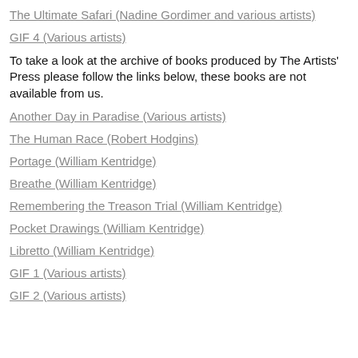The Ultimate Safari (Nadine Gordimer and various artists)
GIF 4 (Various artists)
To take a look at the archive of books produced by The Artists' Press please follow the links below, these books are not available from us.
Another Day in Paradise (Various artists)
The Human Race (Robert Hodgins)
Portage (William Kentridge)
Breathe (William Kentridge)
Remembering the Treason Trial (William Kentridge)
Pocket Drawings (William Kentridge)
Libretto (William Kentridge)
GIF 1 (Various artists)
GIF 2 (Various artists)